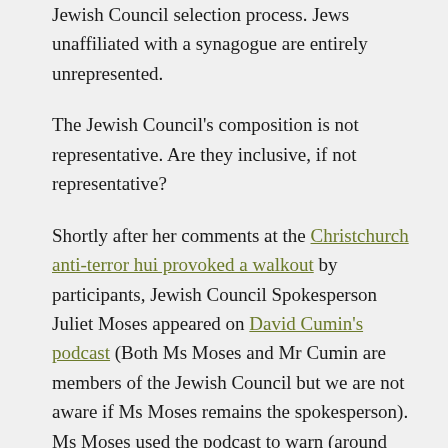Jewish Council selection process. Jews unaffiliated with a synagogue are entirely unrepresented.
The Jewish Council's composition is not representative. Are they inclusive, if not representative?
Shortly after her comments at the Christchurch anti-terror hui provoked a walkout by participants, Jewish Council Spokesperson Juliet Moses appeared on David Cumin's podcast (Both Ms Moses and Mr Cumin are members of the Jewish Council but we are not aware if Ms Moses remains the spokesperson). Ms Moses used the podcast to warn (around minute 45). "One of the things we need to be